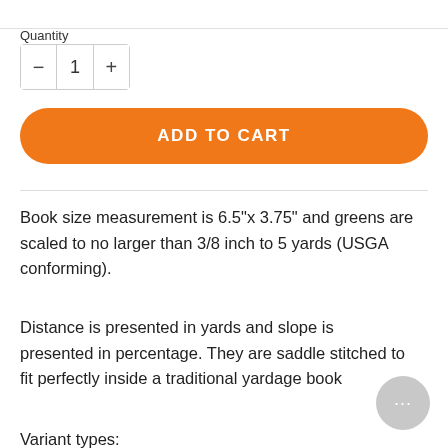Quantity
- 1 +
ADD TO CART
Book size measurement is 6.5"x 3.75" and greens are scaled to no larger than 3/8 inch to 5 yards (USGA conforming).
Distance is presented in yards and slope is presented in percentage. They are saddle stitched to fit perfectly inside a traditional yardage book
Variant types: